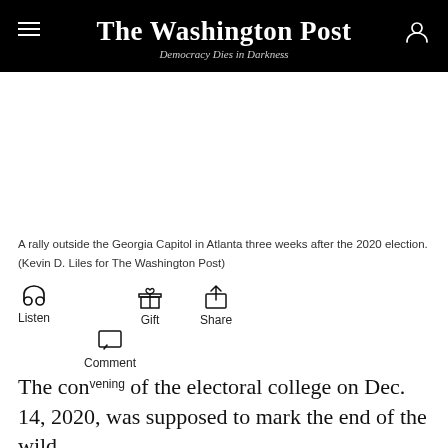The Washington Post — Democracy Dies in Darkness
[Figure (photo): White space where photo of rally outside the Georgia Capitol in Atlanta would appear]
A rally outside the Georgia Capitol in Atlanta three weeks after the 2020 election. (Kevin D. Liles for The Washington Post)
Listen  Gift  Share  Comment
The convening of the electoral college on Dec. 14, 2020, was supposed to mark the end of the wild,